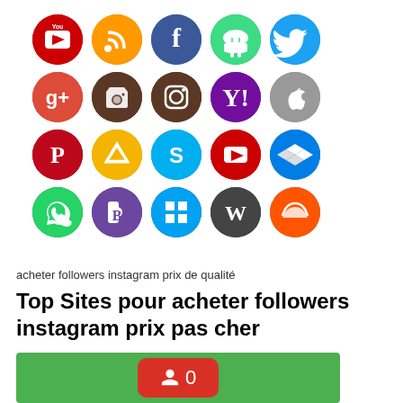[Figure (illustration): Grid of 20 social media icons in circles: YouTube, RSS, Facebook, Android, Twitter, Google+, Camera/Photo, Instagram, Yahoo, Apple, Pinterest, Google Drive, Skype, YouTube Play, Dropbox, WhatsApp, Blogger, Windows, WordPress, SoundCloud]
acheter followers instagram prix de qualité
Top Sites pour acheter followers instagram prix pas cher
[Figure (illustration): Green background box with a red follower/person icon badge showing the number 0]